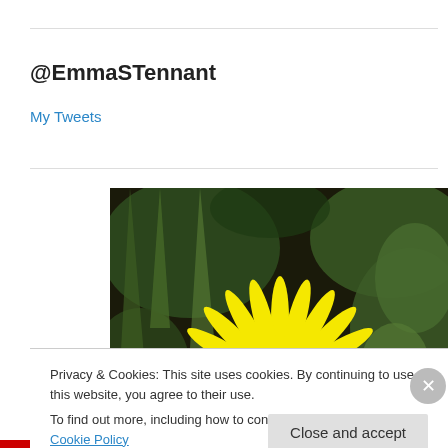@EmmaSTennant
My Tweets
[Figure (photo): Close-up photo of a bright yellow dandelion flower with green foliage in the background]
Privacy & Cookies: This site uses cookies. By continuing to use this website, you agree to their use.
To find out more, including how to control cookies, see here: Cookie Policy
Close and accept